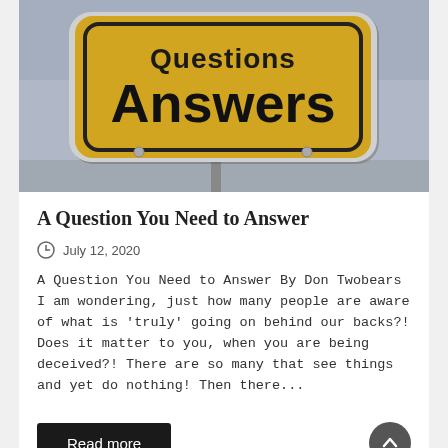[Figure (photo): A yellow road sign with black text reading 'Questions' on top and 'Answers' in large bold letters below, mounted on a metal post against a cloudy sky background.]
A Question You Need to Answer
July 12, 2020
A Question You Need to Answer By Don Twobears I am wondering, just how many people are aware of what is 'truly' going on behind our backs?! Does it matter to you, when you are being deceived?! There are so many that see things and yet do nothing! Then there...
Read more